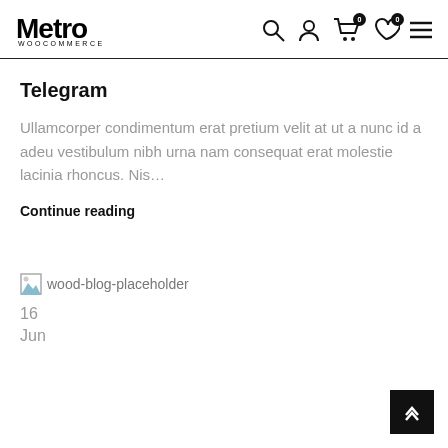Metro WOOCOMMERCE
Telegram
Ullamcorper condimentum erat pretium velit at ut a nunc id a adeu vestibulum nibh urna nam consequat erat molestie lacinia rhoncus. Nis…
Continue reading
[Figure (photo): Broken image placeholder labeled 'wood-blog-placeholder']
16
Jun